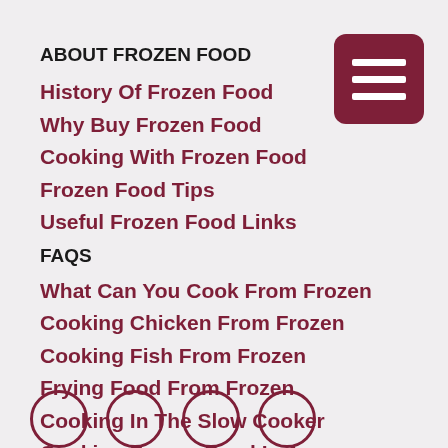ABOUT FROZEN FOOD
History Of Frozen Food
Why Buy Frozen Food
Cooking With Frozen Food
Frozen Food Tips
Useful Frozen Food Links
FAQS
What Can You Cook From Frozen
Cooking Chicken From Frozen
Cooking Fish From Frozen
Frying Food From Frozen
Cooking In The Slow Cooker
Cooking Frozen Food In A Microwave
BLOG
Frozen Food Blog
[Figure (other): Menu/hamburger icon button with three white horizontal lines on dark red rounded square background]